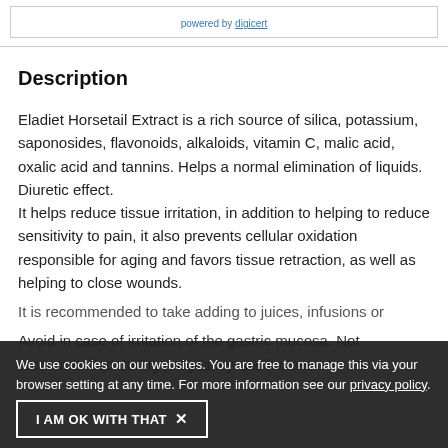[Figure (logo): powered by DigiCert banner/badge area at top]
Description
Eladiet Horsetail Extract is a rich source of silica, potassium, saponosides, flavonoids, alkaloids, vitamin C, malic acid, oxalic acid and tannins. Helps a normal elimination of liquids. Diuretic effect.
It helps reduce tissue irritation, in addition to helping to reduce sensitivity to pain, it also prevents cellular oxidation responsible for aging and favors tissue retraction, as well as helping to close wounds.
It is recommended to take adding to juices, infusions or...
Avoid in case of irritation of the gastric mucosa. Not recommended during pregnancy and lactation
We use cookies on our websites. You are free to manage this via your browser setting at any time. For more information see our privacy policy.
I AM OK WITH THAT ✕